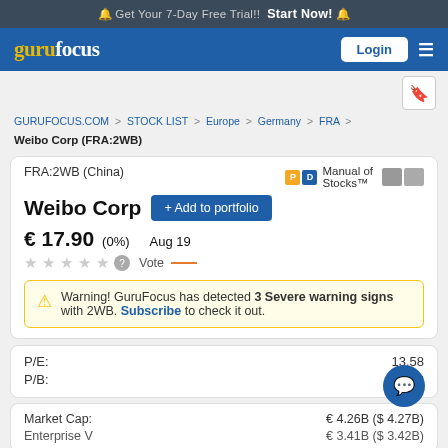🔔 Get Your 7-Day Free Trial!! Start Now! 🔔
[Figure (logo): GuruFocus logo in yellow and white on blue nav bar]
FRA:2WB (China)
Manual of Stocks™
Weibo Corp
+ Add to portfolio
€ 17.90 (0%) Aug 19
Vote
Warning! GuruFocus has detected 3 Severe warning signs with 2WB. Subscribe to check it out.
P/E: 13.58
P/B: 1.2
Market Cap: € 4.26B ($ 4.27B)
Enterprise V: € 3.41B ($ 3.42B)
GURUFOCUS.COM > STOCK LIST > Europe > Germany > FRA
Weibo Corp (FRA:2WB)